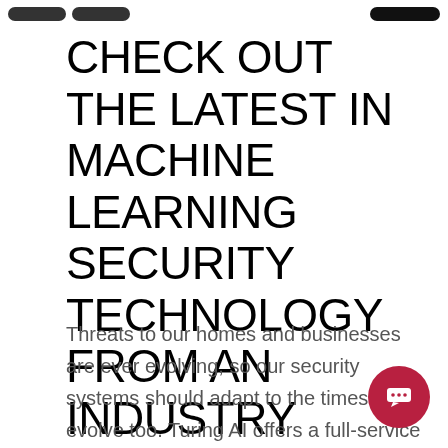[navigation pills/buttons]
CHECK OUT THE LATEST IN MACHINE LEARNING SECURITY TECHNOLOGY FROM AN INDUSTRY LEADER
Threats to our homes and businesses are ever evolving, so our security systems should adapt to the times and evolve too. Turing AI offers a full-service suite of surveillance solutions that use complex AI learning models and IoT devices to create an advanced and revolutionary system. Whether you are a real estate company, casino, retail center,